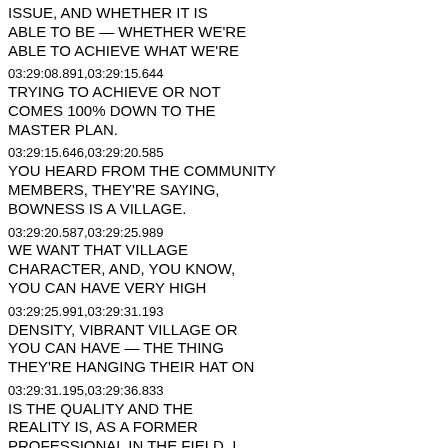ISSUE, AND WHETHER IT IS ABLE TO BE — WHETHER WE'RE ABLE TO ACHIEVE WHAT WE'RE
03:29:08.891,03:29:15.644
TRYING TO ACHIEVE OR NOT COMES 100% DOWN TO THE MASTER PLAN.
03:29:15.646,03:29:20.585
YOU HEARD FROM THE COMMUNITY MEMBERS, THEY'RE SAYING, BOWNESS IS A VILLAGE.
03:29:20.587,03:29:25.989
WE WANT THAT VILLAGE CHARACTER, AND, YOU KNOW, YOU CAN HAVE VERY HIGH
03:29:25.991,03:29:31.193
DENSITY, VIBRANT VILLAGE OR YOU CAN HAVE — THE THING THEY'RE HANGING THEIR HAT ON
03:29:31.195,03:29:36.833
IS THE QUALITY AND THE REALITY IS, AS A FORMER PROFESSIONAL IN THE FIELD, I